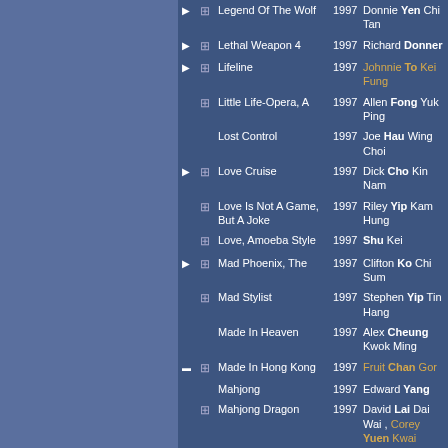|  |  | Title | Year | Director |
| --- | --- | --- | --- | --- |
| ▶ | ⊞ | Legend Of The Wolf | 1997 | Donnie Yen Chi Tan |
| ▶ | ⊞ | Lethal Weapon 4 | 1997 | Richard Donner |
| ▶ | ⊞ | Lifeline | 1997 | Johnnie To Kei Fung |
|  | ⊞ | Little Life-Opera, A | 1997 | Allen Fong Yuk Ping |
|  |  | Lost Control | 1997 | Joe Hau Wing Choi |
| ▶ | ⊞ | Love Cruise | 1997 | Dick Cho Kin Nam |
|  | ⊞ | Love Is Not A Game, But A Joke | 1997 | Riley Yip Kam Hung |
|  | ⊞ | Love, Amoeba Style | 1997 | Shu Kei |
| ▶ | ⊞ | Mad Phoenix, The | 1997 | Clifton Ko Chi Sum |
|  | ⊞ | Mad Stylist | 1997 | Stephen Yip Tin Hang |
|  |  | Made In Heaven | 1997 | Alex Cheung Kwok Ming |
| ▬ | ⊞ | Made In Hong Kong | 1997 | Fruit Chan Gor |
|  |  | Mahjong | 1997 | Edward Yang |
|  | ⊞ | Mahjong Dragon | 1997 | David Lai Dai Wai , Corey Yuen Kwai |
| ▬ | ⊞ | Master Of Tai Chi | 1997 | Cheung |